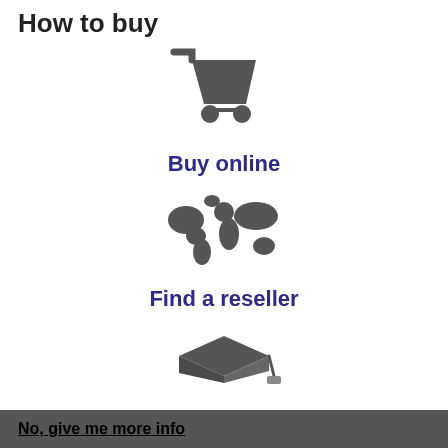How to buy
[Figure (illustration): Shopping cart icon in dark gray]
Buy online
[Figure (illustration): World map icon in dark gray]
Find a reseller
[Figure (illustration): Graduation cap icon in dark gray]
Education
No, give me more info